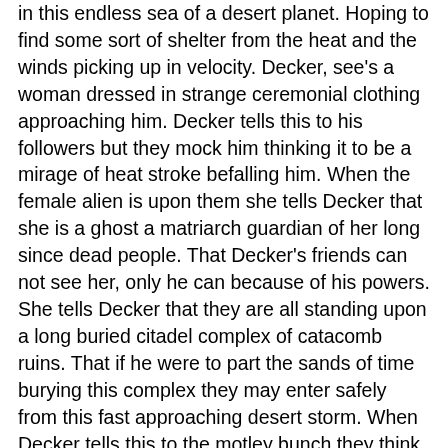in this endless sea of a desert planet. Hoping to find some sort of shelter from the heat and the winds picking up in velocity. Decker, see's a woman dressed in strange ceremonial clothing approaching him. Decker tells this to his followers but they mock him thinking it to be a mirage of heat stroke befalling him. When the female alien is upon them she tells Decker that she is a ghost a matriarch guardian of her long since dead people. That Decker's friends can not see her, only he can because of his powers. She tells Decker that they are all standing upon a long buried citadel complex of catacomb ruins. That if he were to part the sands of time burying this complex they may enter safely from this fast approaching desert storm. When Decker tells this to the motley bunch they think he's completely lost his mind. This is even after doing the miracles or other feats just hours before them in person. He tells them to stand aside and where the alien female ghost tells Decker to part the sands. He begins to do so freaking everyone out thinking they could at any moment be buried under these dunes themselves. To everyone's amazement once more they begin to see a stone doorway entrance to these ancient catacombs.
Upon opening the stone slabs of a set of doors Decker starts